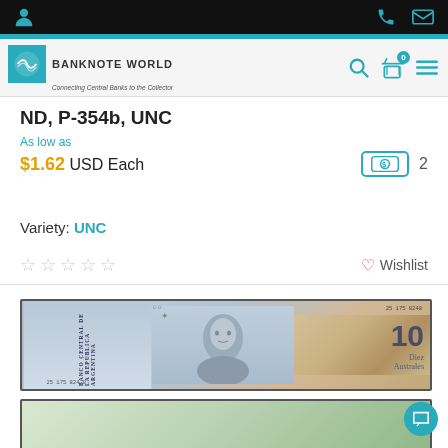Banknote World — Connecting Central Banks to the Collector
ND, P-354b, UNC
As low as
$1.62 USD Each   2
Variety: UNC
☆☆☆☆☆   Wishlist
[Figure (photo): Front face of an Argentine 10 Australes banknote (Banco Central de la Republica Argentina, P-354b), serial number 25 175 8248, showing portrait of a statesman on the left and the numeral 10 with 'Diez Australes' text on the right.]
[Figure (photo): Reverse side of the Argentine 10 Australes banknote, partially visible at bottom of page.]